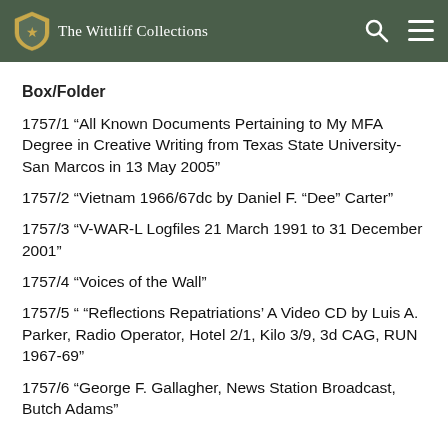The Wittliff Collections
Box/Folder
1757/1 “All Known Documents Pertaining to My MFA Degree in Creative Writing from Texas State University-San Marcos in 13 May 2005”
1757/2 “Vietnam 1966/67dc by Daniel F. “Dee” Carter”
1757/3 “V-WAR-L Logfiles 21 March 1991 to 31 December 2001”
1757/4 “Voices of the Wall”
1757/5 “ “Reflections Repatriations’ A Video CD by Luis A. Parker, Radio Operator, Hotel 2/1, Kilo 3/9, 3d CAG, RUN 1967-69”
1757/6 “George F. Gallagher, News Station Broadcast, Butch Adams”